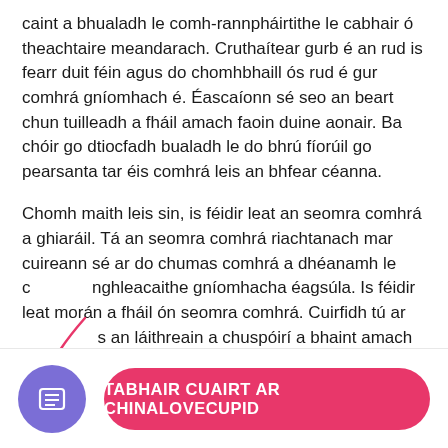caint a bhualadh le comh-rannpháirtithe le cabhair ó theachtaire meandarach. Cruthaítear gurb é an rud is fearr duit féin agus do chomhbhaill ós rud é gur comhrá gníomhach é. Éascaíonn sé seo an beart chun tuilleadh a fháil amach faoin duine aonair. Ba chóir go dtiocfadh bualadh le do bhrú fíorúil go pearsanta tar éis comhrá leis an bhfear céanna.
Chomh maith leis sin, is féidir leat an seomra comhrá a ghiaráil. Tá an seomra comhrá riachtanach mar cuireann sé ar do chumas comhrá a dhéanamh le comhghleacaithe gníomhacha éagsúla. Is féidir leat morán a fháil ón seomra comhrá. Cuirfidh tú ar eolas an láithreain a chuspóirí a bhaint amach ag nascadh singles le comhpháirtithe roghnaithe.
[Figure (infographic): Annotation overlay showing a hand-drawn arrow and '28%' label in red/pink color, overlaid on the text area]
TABHAIR CUAIRT AR CHINALOVECUPID